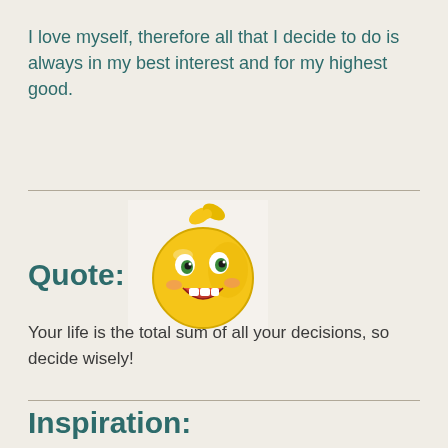I love myself, therefore all that I decide to do is always in my best interest and for my highest good.
[Figure (illustration): Yellow smiley face emoji with a small yellow bow on top, smiling with a winking expression, on a light background]
Quote:
Your life is the total sum of all your decisions, so decide wisely!
Inspiration: